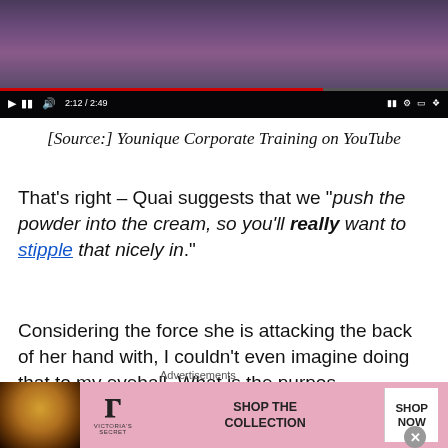[Figure (screenshot): Screenshot of a YouTube video player showing a woman applying makeup, with video controls showing timestamp 2:12 / 2:49 and a red progress bar.]
[Source:] Younique Corporate Training on YouTube
That's right – Quai suggests that we "push the powder into the cream, so you'll really want to stipple that nicely in."
Considering the force she is attacking the back of her hand with, I couldn't even imagine doing that to my eyeball. What is the purpos
[Figure (screenshot): Victoria's Secret advertisement banner showing a model, VS logo, text 'SHOP THE COLLECTION', and a 'SHOP NOW' button.]